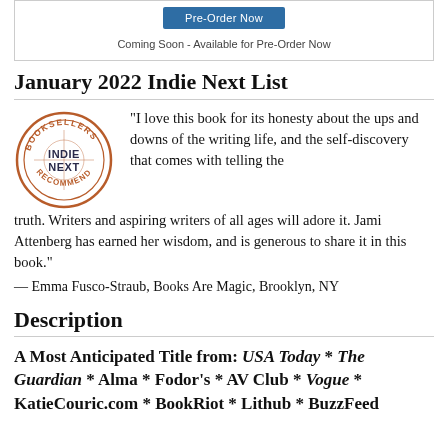[Figure (other): Pre-order button (blue) with text 'Coming Soon - Available for Pre-Order Now' inside a bordered box]
January 2022 Indie Next List
[Figure (logo): Indie Next Booksellers Recommend circular badge/stamp logo in orange and dark gray]
“I love this book for its honesty about the ups and downs of the writing life, and the self-discovery that comes with telling the truth. Writers and aspiring writers of all ages will adore it. Jami Attenberg has earned her wisdom, and is generous to share it in this book.” — Emma Fusco-Straub, Books Are Magic, Brooklyn, NY
Description
A Most Anticipated Title from: USA Today * The Guardian * Alma * Fodor’s * AV Club * Vogue * KatieCouric.com * BookRiot * Lithub * BuzzFeed